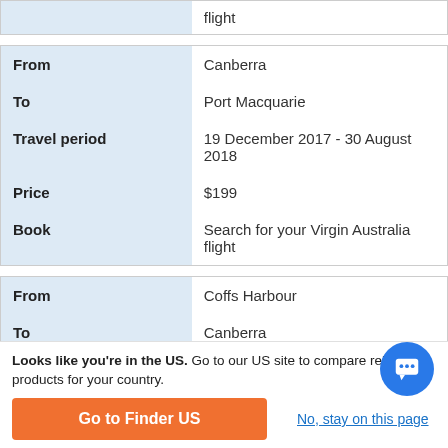|  |  |
| --- | --- |
|  | flight |
|  |  |
| --- | --- |
| From | Canberra |
| To | Port Macquarie |
| Travel period | 19 December 2017 - 30 August 2018 |
| Price | $199 |
| Book | Search for your Virgin Australia flight |
|  |  |
| --- | --- |
| From | Coffs Harbour |
| To | Canberra |
| Travel period | 19 December 2017 - 30 August 2018 |
Looks like you're in the US. Go to our US site to compare relevant products for your country.